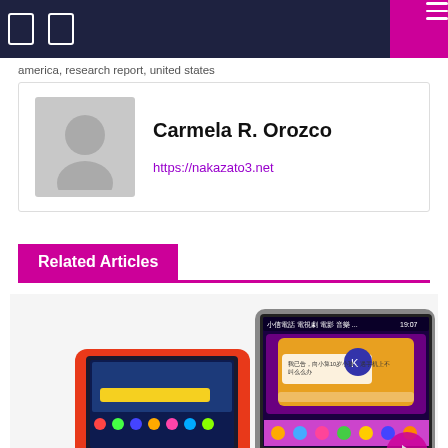Navigation bar with menu icons
america, research report, united states
Carmela R. Orozco
https://nakazato3.net
Related Articles
[Figure (photo): Two smart display devices side by side — a smaller red-cased device on the left, and a larger gray-cased device on the right with a Chinese-language screen showing a chat assistant UI at 19:07.]